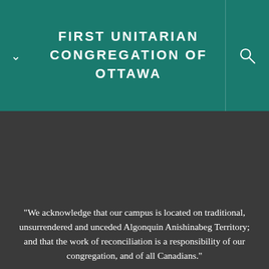FIRST UNITARIAN CONGREGATION OF OTTAWA
"We acknowledge that our campus is located on traditional, unsurrendered and unceded Algonquin Anishinabeg Territory; and that the work of reconciliation is a responsibility of our congregation, and of all Canadians."